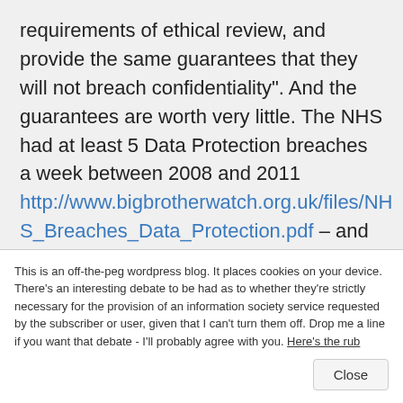requirements of ethical review, and provide the same guarantees that they will not breach confidentiality". And the guarantees are worth very little. The NHS had at least 5 Data Protection breaches a week between 2008 and 2011 http://www.bigbrotherwatch.org.uk/files/NHS_Breaches_Data_Protection.pdf – and those are only the breaches which were actually identified and admitted to, and
This is an off-the-peg wordpress blog. It places cookies on your device. There's an interesting debate to be had as to whether they're strictly necessary for the provision of an information society service requested by the subscriber or user, given that I can't turn them off. Drop me a line if you want that debate - I'll probably agree with you. Here's the rub